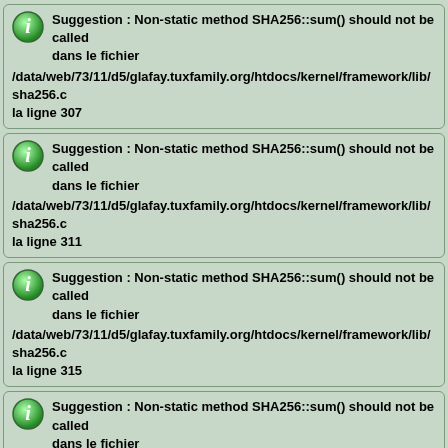Suggestion : Non-static method SHA256::sum() should not be called dans le fichier /data/web/73/11/d5/glafay.tuxfamily.org/htdocs/kernel/framework/lib/sha256.c la ligne 307
Suggestion : Non-static method SHA256::sum() should not be called dans le fichier /data/web/73/11/d5/glafay.tuxfamily.org/htdocs/kernel/framework/lib/sha256.c la ligne 311
Suggestion : Non-static method SHA256::sum() should not be called dans le fichier /data/web/73/11/d5/glafay.tuxfamily.org/htdocs/kernel/framework/lib/sha256.c la ligne 315
Suggestion : Non-static method SHA256::sum() should not be called dans le fichier /data/web/73/11/d5/glafay.tuxfamily.org/htdocs/kernel/framework/lib/sha256.c la ligne 303
Suggestion : Non-static method SHA256::sum() should not be called dans le fichier /data/web/73/11/d5/glafay.tuxfamily.org/htdocs/kernel/framework/lib/sha256.c la ligne 306